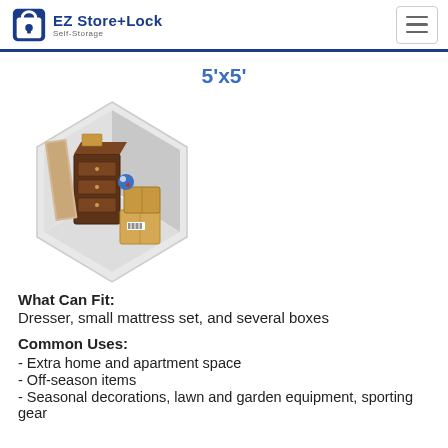EZ Store+Lock Self-Storage
5'x5'
[Figure (illustration): Isometric illustration of a small 5x5 storage unit containing a dresser, mattress, boxes, and other items]
What Can Fit: Dresser, small mattress set, and several boxes
Common Uses:
- Extra home and apartment space
- Off-season items
- Seasonal decorations, lawn and garden equipment, sporting gear